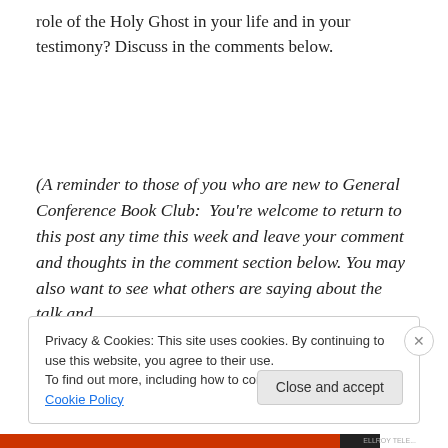role of the Holy Ghost in your life and in your testimony? Discuss in the comments below.
(A reminder to those of you who are new to General Conference Book Club:  You're welcome to return to this post any time this week and leave your comment and thoughts in the comment section below. You may also want to see what others are saying about the talk and
Privacy & Cookies: This site uses cookies. By continuing to use this website, you agree to their use.
To find out more, including how to control cookies, see here: Cookie Policy
Close and accept